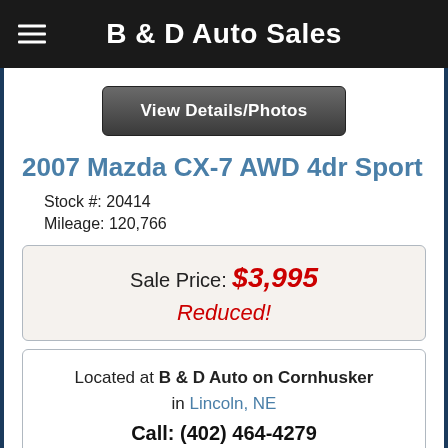B & D Auto Sales
View Details/Photos
2007 Mazda CX-7 AWD 4dr Sport
Stock #: 20414
Mileage: 120,766
Sale Price: $3,995
Reduced!
Located at B & D Auto on Cornhusker in Lincoln, NE
Call: (402) 464-4279